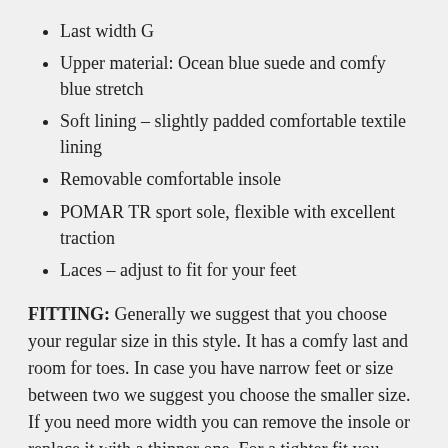Last width G
Upper material: Ocean blue suede and comfy blue stretch
Soft lining – slightly padded comfortable textile lining
Removable comfortable insole
POMAR TR sport sole, flexible with excellent traction
Laces – adjust to fit for your feet
FITTING: Generally we suggest that you choose your regular size in this style. It has a comfy last and room for toes. In case you have narrow feet or size between two we suggest you choose the smaller size. If you need more width you can remove the insole or replace it with a thinner one. For a tighter fit you could replace our insole with a thicker one or place an additional flat and thin insole under the current Pomar insole.